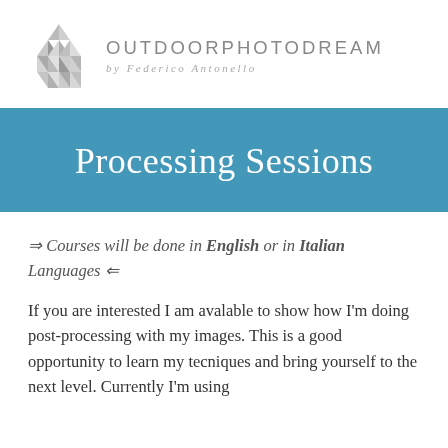[Figure (logo): OutdoorPhotoDream logo with geometric diamond/triangle pattern icon and brand name text]
Processing Sessions
⇒ Courses will be done in English or in Italian Languages ⇐
If you are interested I am avalable to show how I'm doing post-processing with my images. This is a good opportunity to learn my tecniques and bring yourself to the next level. Currently I'm using